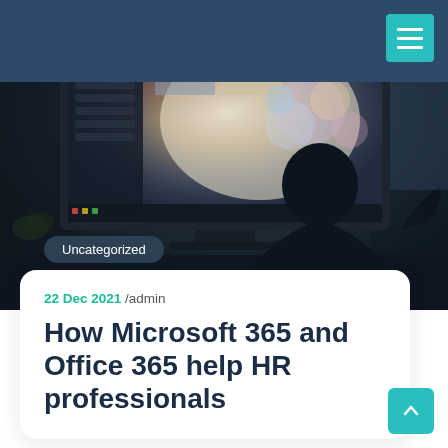[Figure (photo): Person sitting in front of a large monitor displaying photo editing software, backlit scene with dark silhouette, moody lighting]
Uncategorized
22 Dec 2021 /admin
How Microsoft 365 and Office 365 help HR professionals